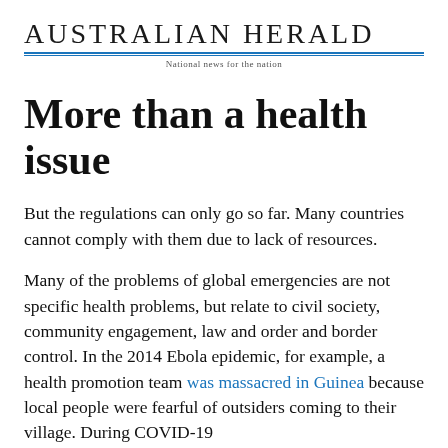Australian Herald
National news for the nation
More than a health issue
But the regulations can only go so far. Many countries cannot comply with them due to lack of resources.
Many of the problems of global emergencies are not specific health problems, but relate to civil society, community engagement, law and order and border control. In the 2014 Ebola epidemic, for example, a health promotion team was massacred in Guinea because local people were fearful of outsiders coming to their village. During COVID-19